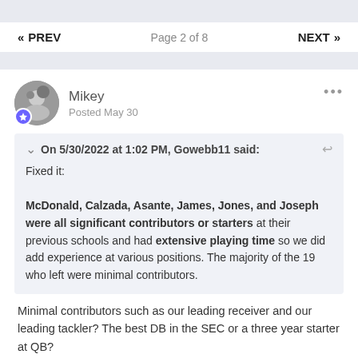« PREV   Page 2 of 8   NEXT »
Mikey
Posted May 30
On 5/30/2022 at 1:02 PM, Gowebb11 said:

Fixed it:

McDonald, Calzada, Asante, James, Jones, and Joseph were all significant contributors or starters at their previous schools and had extensive playing time so we did add experience at various positions. The majority of the 19 who left were minimal contributors.
Minimal contributors such as our leading receiver and our leading tackler? The best DB in the SEC or a three year starter at QB?